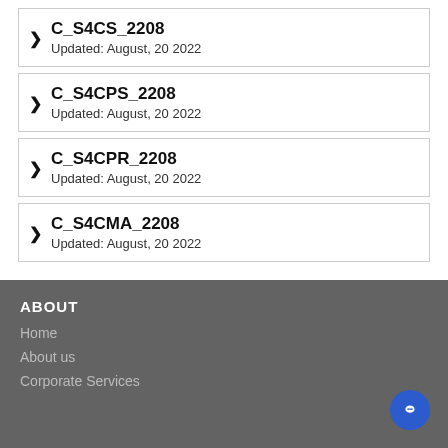C_S4CS_2208
Updated: August, 20 2022
C_S4CPS_2208
Updated: August, 20 2022
C_S4CPR_2208
Updated: August, 20 2022
C_S4CMA_2208
Updated: August, 20 2022
ABOUT
Home
About us
Corporate Services